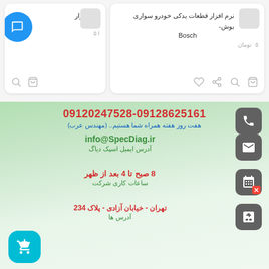[Figure (screenshot): Product card - نرم افزار (left card, partially visible with blue chat bubble overlay)]
[Figure (screenshot): Product card - نرم افزار قطعات یدکی خودرو سواری بوش - Bosch, price: 0 تومان]
09120247528-09128625161
هفت روز هفته همراه شما هستیم.. (مهندس عرب)
info@SpecDiag.ir
آدرس ایمیل اسپک دیاگ
8 صبح تا 4 بعد از ظهر
ساعات کاری شرکت
تهران - خیابان آزادی - پلاک 234
آدرس ها